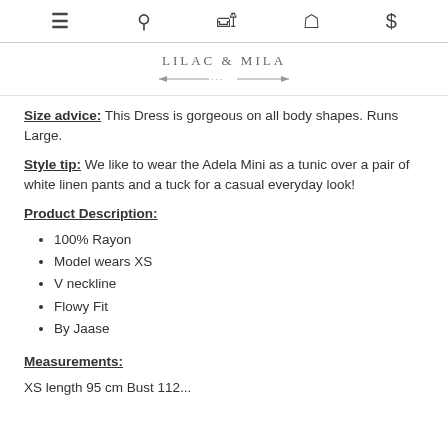≡ 🔍 🛍 👤 $
[Figure (logo): LILAC & MILA brand logo with arrow decoration]
Size advice: This Dress is gorgeous on all body shapes. Runs Large.
Style tip: We like to wear the Adela Mini as a tunic over a pair of white linen pants and a tuck for a casual everyday look!
Product Description:
100% Rayon
Model wears XS
V neckline
Flowy Fit
By Jaase
Measurements:
XS length 95 cm Bust 112...